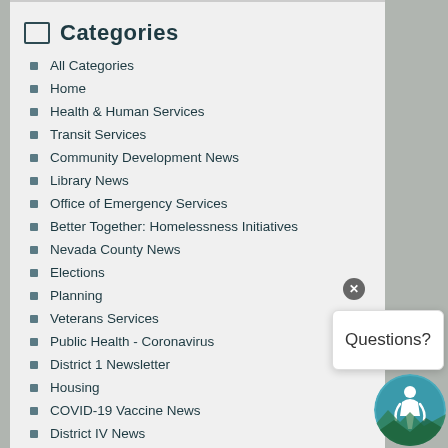Categories
All Categories
Home
Health & Human Services
Transit Services
Community Development News
Library News
Office of Emergency Services
Better Together: Homelessness Initiatives
Nevada County News
Elections
Planning
Veterans Services
Public Health - Coronavirus
District 1 Newsletter
Housing
COVID-19 Vaccine News
District IV News
Public Assistance
American Rescue Plan Act (ARPA)
Questions?